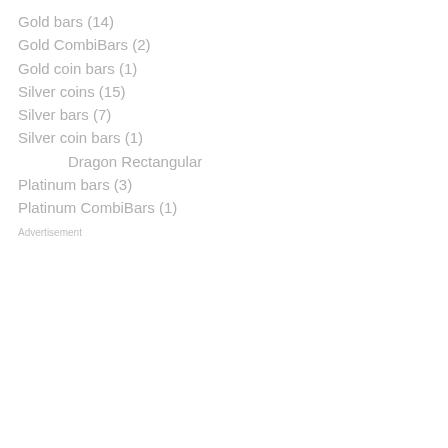Gold bars (14)
Gold CombiBars (2)
Gold coin bars (1)
Silver coins (15)
Silver bars (7)
Silver coin bars (1)
Dragon Rectangular
Platinum bars (3)
Platinum CombiBars (1)
Advertisement